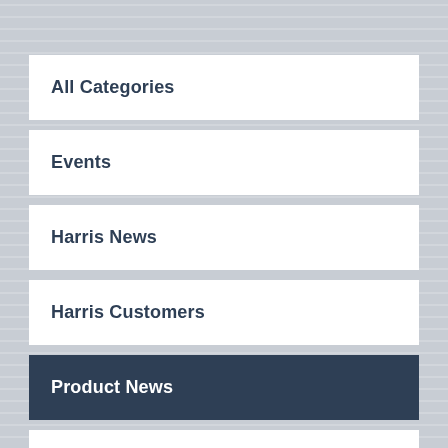All Categories
Events
Harris News
Harris Customers
Product News
Shows & Events
Sustainability